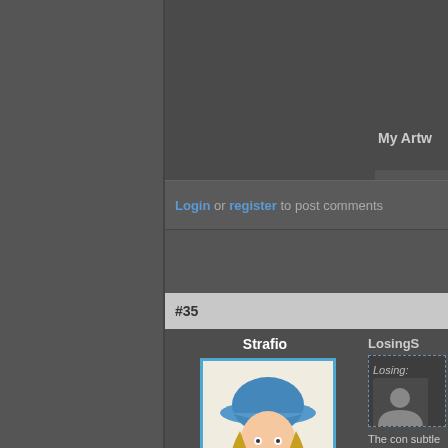My Artw
Login or register to post comments
#35
Strafio
[Figure (illustration): Hand-drawn avatar of a person wearing a blue hat with blonde hair]
Posts: 1346
Joined: 2006-09-11
Offline
LosingS
Losing:
The con subtle wa you. For will enco problems outlook v understa
Quote: